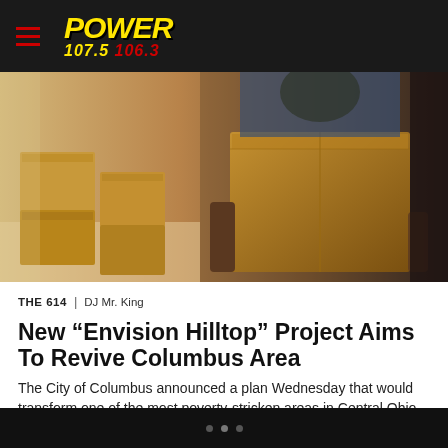POWER 107.5 106.3
[Figure (photo): Person carrying a large cardboard moving box, with more moving boxes stacked in the background]
THE 614 | DJ Mr. King
New “Envision Hilltop” Project Aims To Revive Columbus Area
The City of Columbus announced a plan Wednesday that would transform one of the most poverty-stricken areas in Central Ohio. “Envision Hilltop” is a 27 goal plan aimed at tackling issues plaguing the neighborhood from substance abuse, hazardous driving behavior home buying incentives and more. The city has already invested millions of dollars in cameras […]